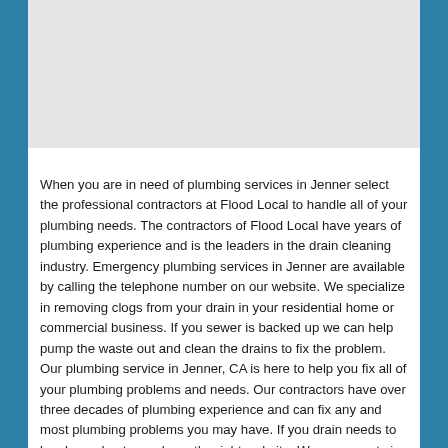[Figure (other): Gray placeholder image area at top of page]
When you are in need of plumbing services in Jenner select the professional contractors at Flood Local to handle all of your plumbing needs. The contractors of Flood Local have years of plumbing experience and is the leaders in the drain cleaning industry. Emergency plumbing services in Jenner are available by calling the telephone number on our website. We specialize in removing clogs from your drain in your residential home or commercial business. If you sewer is backed up we can help pump the waste out and clean the drains to fix the problem. Our plumbing service in Jenner, CA is here to help you fix all of your plumbing problems and needs. Our contractors have over three decades of plumbing experience and can fix any and most plumbing problems you may have. If you drain needs to be cleaned out you chose the right website. We are experts in drain cleaning and plumbing services of all types. Looking for a plumber in Jenner? We have